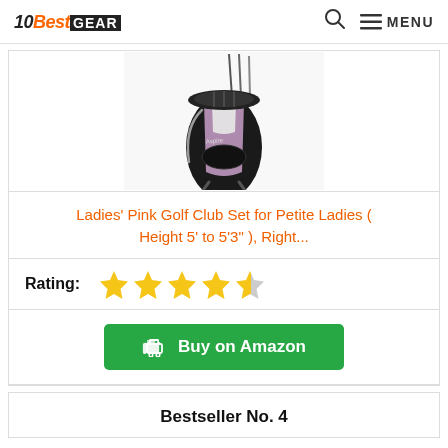10BestGEAR — MENU
[Figure (photo): Pink and black golf stand bag with clubs visible at the top, shown on a white background]
Ladies' Pink Golf Club Set for Petite Ladies ( Height 5' to 5'3" ), Right...
Rating: ★★★★½
Buy on Amazon
Bestseller No. 4